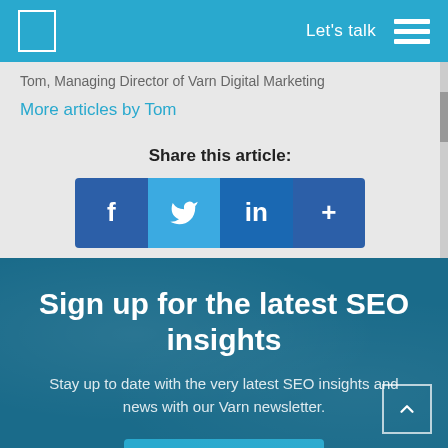Let's talk
Tom, Managing Director of Varn Digital Marketing
More articles by Tom
Share this article:
[Figure (other): Social sharing buttons: Facebook (f), Twitter (bird icon), LinkedIn (in), and a plus (+) button for more sharing options]
Sign up for the latest SEO insights
Stay up to date with the very latest SEO insights and news with our Varn newsletter.
Sign Up